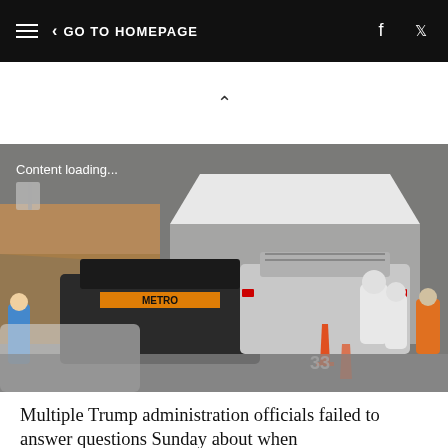GO TO HOMEPAGE
[Figure (photo): Drive-through COVID-19 testing site with cars lined up, workers in white hazmat suits, orange traffic cones, and a white tent canopy. A METRO vehicle is visible. Text overlay reads 'Content loading...']
Multiple Trump administration officials failed to answer questions Sunday about when